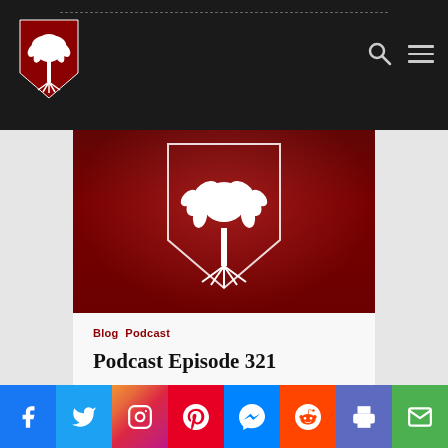Navigation bar with logo and menu icons
[Figure (logo): Red shield logo with white palmetto tree, navigation header]
[Figure (logo): Large red banner with white shield and palmetto tree logo centered]
Blog  Podcast
Podcast Episode 321
Brion McClanahan
August 20, 2022
Social sharing bar: Facebook, Twitter, Instagram, Pinterest, Messenger, Reddit, Print, Email